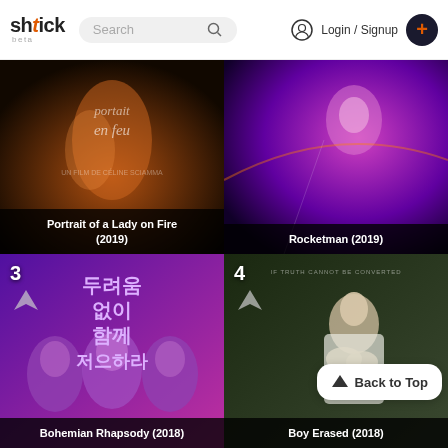shtick beta — Search — Login / Signup
[Figure (screenshot): Movie poster for Portrait of a Lady on Fire (2019) — dark warm toned film poster with French text. Title overlay at bottom.]
Portrait of a Lady on Fire (2019)
[Figure (screenshot): Movie poster for Rocketman (2019) — vivid purple/pink colors with performer on stage. Title overlay at bottom.]
Rocketman (2019)
[Figure (screenshot): Movie poster for Bohemian Rhapsody (2018) — purple toned poster with Korean text and silhouettes of three faces. Number 3 badge in top left.]
Bohemian Rhapsody (2018)
[Figure (screenshot): Movie poster for Boy Erased (2018) — muted tones showing a young person with hands clasped. Number 4 badge. Back to Top button overlay.]
Boy Erased (2018)